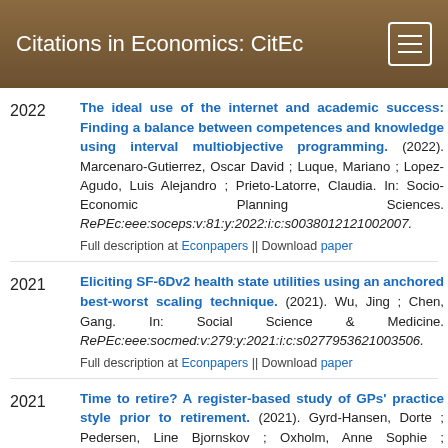Citations in Economics: CitEc
The ideal use of the internet and academic success: Finding a balance between competences and knowledge using interval multiobjective programming. (2022). Marcenaro-Gutierrez, Oscar David ; Luque, Mariano ; Lopez-Agudo, Luis Alejandro ; Prieto-Latorre, Claudia. In: Socio-Economic Planning Sciences. RePEc:eee:soceps:v:81:y:2022:i:c:s00380121210020 07. Full description at Econpapers || Download paper
Eliciting SF-6Dv2 health state utilities using an anchored best-worst scaling technique. (2021). Wu, Jing ; Chen, Gang. In: Social Science & Medicine. RePEc:eee:socmed:v:279:y:2021:i:c:s0277953621003506. Full description at Econpapers || Download paper
Time to retire? A register-based study of GPs' practice style prior to retirement. (2021). Gyrd-Hansen, Dorte ; Pedersen, Line Bjornskov ; Oxholm, Anne Sophie ; O'Halloran, Jamie. In: Social Science & Medicine. RePEc:eee:socmed:v:281:y:2021:i:c:s02779536210043 17